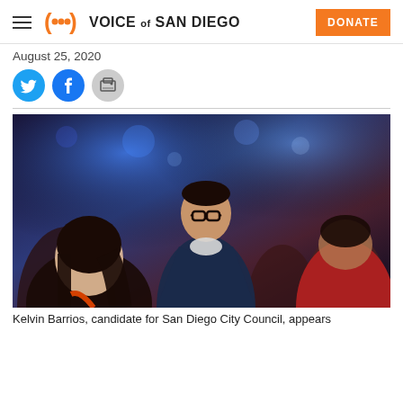Voice of San Diego — DONATE
August 25, 2020
[Figure (photo): Kelvin Barrios, candidate for San Diego City Council, appears at an indoor event, surrounded by people in a crowded room with blue and red lighting in the background. He is wearing glasses, a navy blazer, and a light-colored shirt.]
Kelvin Barrios, candidate for San Diego City Council, appears